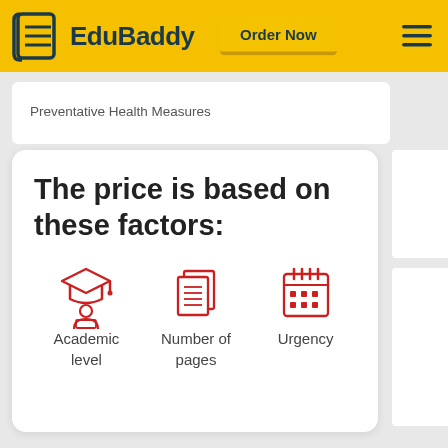EduBaddy — Order Now
Preventative Health Measures
The price is based on these factors:
[Figure (illustration): Three red icons: a student with graduation cap and laptop (Academic level), two document pages with lines (Number of pages), a calendar grid (Urgency)]
Academic level
Number of pages
Urgency